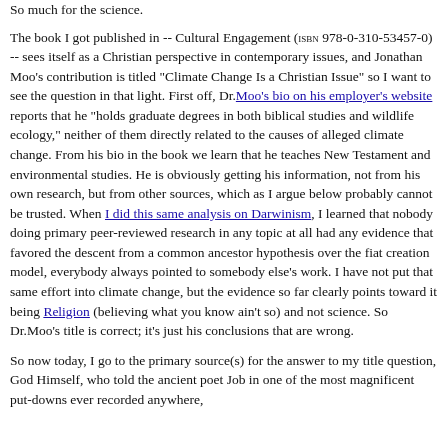So much for the science.
The book I got published in -- Cultural Engagement (ISBN 978-0-310-53457-0) -- sees itself as a Christian perspective in contemporary issues, and Jonathan Moo's contribution is titled "Climate Change Is a Christian Issue" so I want to see the question in that light. First off, Dr.Moo's bio on his employer's website reports that he "holds graduate degrees in both biblical studies and wildlife ecology," neither of them directly related to the causes of alleged climate change. From his bio in the book we learn that he teaches New Testament and environmental studies. He is obviously getting his information, not from his own research, but from other sources, which as I argue below probably cannot be trusted. When I did this same analysis on Darwinism, I learned that nobody doing primary peer-reviewed research in any topic at all had any evidence that favored the descent from a common ancestor hypothesis over the fiat creation model, everybody always pointed to somebody else's work. I have not put that same effort into climate change, but the evidence so far clearly points toward it being Religion (believing what you know ain't so) and not science. So Dr.Moo's title is correct; it's just his conclusions that are wrong.
So now today, I go to the primary source(s) for the answer to my title question, God Himself, who told the ancient poet Job in one of the most magnificent put-downs ever recorded anywhere,